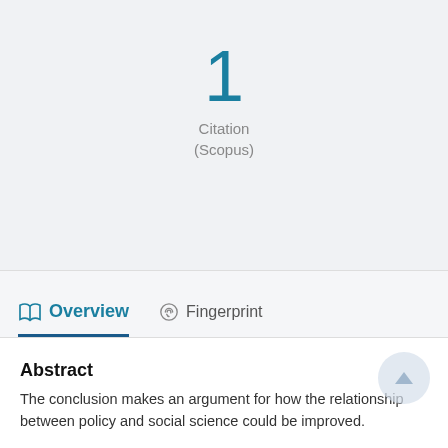1
Citation
(Scopus)
Overview    Fingerprint
Abstract
The conclusion makes an argument for how the relationship between policy and social science could be improved.